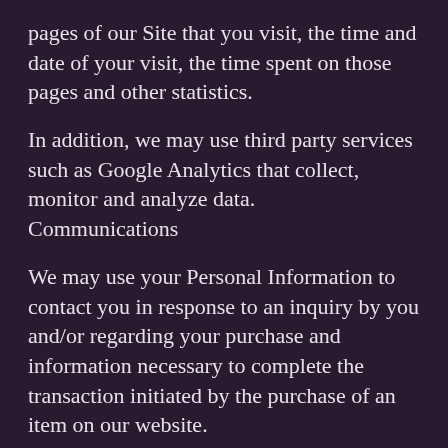pages of our Site that you visit, the time and date of your visit, the time spent on those pages and other statistics.
In addition, we may use third party services such as Google Analytics that collect, monitor and analyze data.
Communications
We may use your Personal Information to contact you in response to an inquiry by you and/or regarding your purchase and information necessary to complete the transaction initiated by the purchase of an item on our website.
Cookies
Cookies are files with small amount of data, which may include an anonymous unique